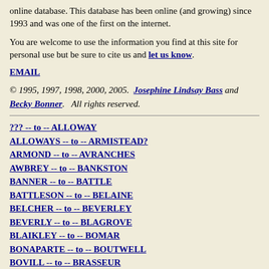online database. This database has been online (and growing) since 1993 and was one of the first on the internet.
You are welcome to use the information you find at this site for personal use but be sure to cite us and let us know.
EMAIL
© 1995, 1997, 1998, 2000, 2005. Josephine Lindsay Bass and Becky Bonner. All rights reserved.
??? -- to -- ALLOWAY
ALLOWAYS -- to -- ARMISTEAD?
ARMOND -- to -- AVRANCHES
AWBREY -- to -- BANKSTON
BANNER -- to -- BATTLE
BATTLESON -- to -- BELAINE
BELCHER -- to -- BEVERLEY
BEVERLY -- to -- BLAGROVE
BLAIKLEY -- to -- BOMAR
BONAPARTE -- to -- BOUTWELL
BOVILL -- to -- BRASSEUR
BRASSFIELD -- to -- BREABMAM